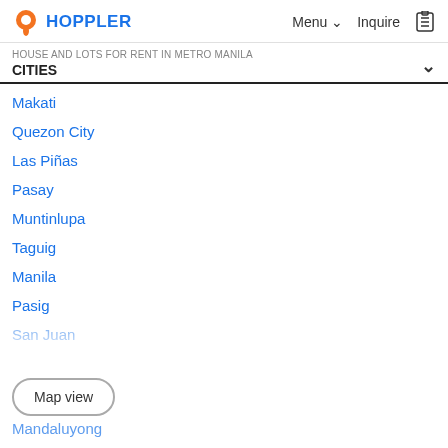HOPPLER | Menu | Inquire
HOUSE AND LOTS FOR RENT IN METRO MANILA CITIES
Makati
Quezon City
Las Piñas
Pasay
Muntinlupa
Taguig
Manila
Pasig
San Juan
Mandaluyong